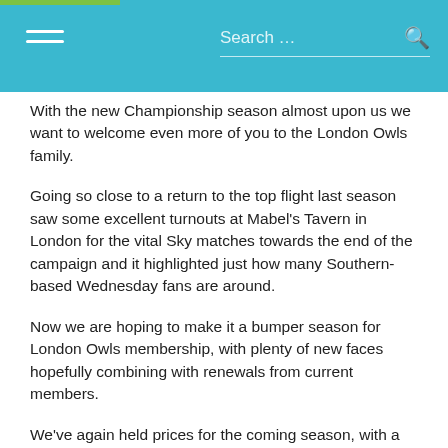Search ...
With the new Championship season almost upon us we want to welcome even more of you to the London Owls family.
Going so close to a return to the top flight last season saw some excellent turnouts at Mabel's Tavern in London for the vital Sky matches towards the end of the campaign and it highlighted just how many Southern-based Wednesday fans are around.
Now we are hoping to make it a bumper season for London Owls membership, with plenty of new faces hopefully combining with renewals from current members.
We've again held prices for the coming season, with a £5 fee for individuals, £10 for families (all living at the same address) and £2 for students and seniors.
Your financial support is of great importance, helping us to cover costs such as membership of  APFSCIL (including entry fees for their sports leagues which we